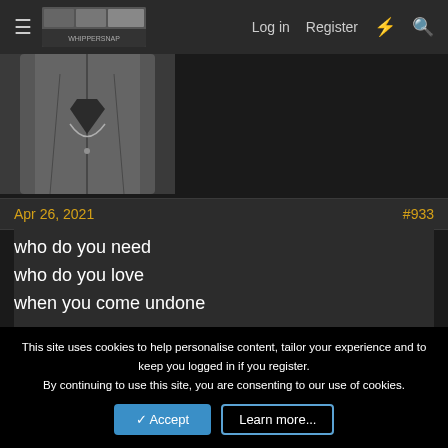Log in  Register
[Figure (photo): Black and white photo of a person wearing a jacket with a necklace, cropped at chest level]
Apr 26, 2021    #933
who do you need
who do you love
when you come undone
[Figure (illustration): Pikachu side profile illustration in yellow]
Bōllle ofl Mōllleōll
[Figure (illustration): Anime character illustration labeled RINDOU, person with green/blonde hair and glasses smiling]
This site uses cookies to help personalise content, tailor your experience and to keep you logged in if you register.
By continuing to use this site, you are consenting to our use of cookies.
Accept  Learn more...